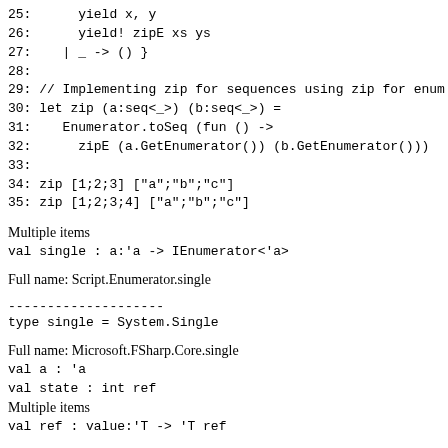25:      yield x, y
26:      yield! zipE xs ys
27:    | _ -> () }
28:
29: // Implementing zip for sequences using zip for enum
30: let zip (a:seq<_>) (b:seq<_>) =
31:    Enumerator.toSeq (fun () ->
32:      zipE (a.GetEnumerator()) (b.GetEnumerator()))
33:
34: zip [1;2;3] ["a";"b";"c"]
35: zip [1;2;3;4] ["a";"b";"c"]
Multiple items
val single : a:'a -> IEnumerator<'a>
Full name: Script.Enumerator.single
--------------------
type single = System.Single
Full name: Microsoft.FSharp.Core.single
val a : 'a
val state : int ref
Multiple items
val ref : value:'T -> 'T ref
Full name: Microsoft.FSharp.Core.Operators.ref